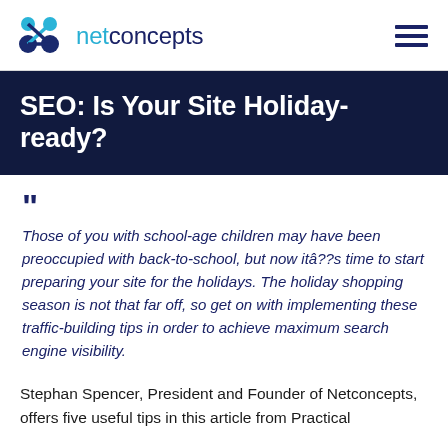netconcepts
SEO: Is Your Site Holiday-ready?
Those of you with school-age children may have been preoccupied with back-to-school, but now itâ??s time to start preparing your site for the holidays. The holiday shopping season is not that far off, so get on with implementing these traffic-building tips in order to achieve maximum search engine visibility.
Stephan Spencer, President and Founder of Netconcepts, offers five useful tips in this article from Practical